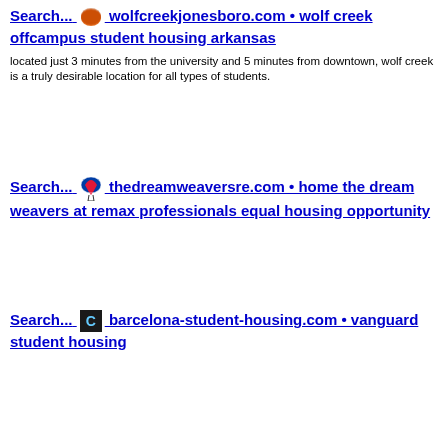Search... wolfcreekjonesboro.com • wolf creek offcampus student housing arkansas
located just 3 minutes from the university and 5 minutes from downtown, wolf creek is a truly desirable location for all types of students.
Search... thedreamweaversre.com • home the dream weavers at remax professionals equal housing opportunity
Search... barcelona-student-housing.com • vanguard student housing